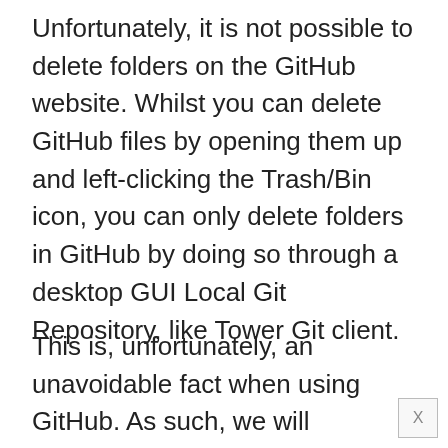Unfortunately, it is not possible to delete folders on the GitHub website. Whilst you can delete GitHub files by opening them up and left-clicking the Trash/Bin icon, you can only delete folders in GitHub by doing so through a desktop GUI Local Git Repository, like Tower Git client.
This is, unfortunately, an unavoidable fact when using GitHub. As such, we will show you how to